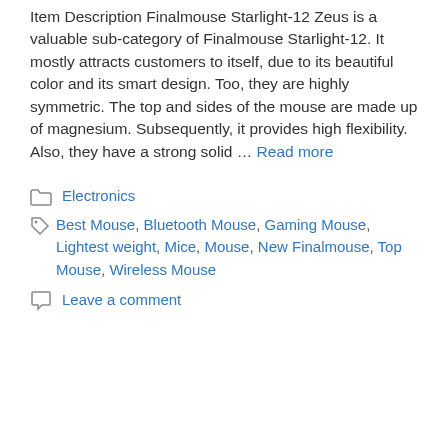Item Description Finalmouse Starlight-12 Zeus is a valuable sub-category of Finalmouse Starlight-12. It mostly attracts customers to itself, due to its beautiful color and its smart design. Too, they are highly symmetric. The top and sides of the mouse are made up of magnesium. Subsequently, it provides high flexibility. Also, they have a strong solid … Read more
Electronics
Best Mouse, Bluetooth Mouse, Gaming Mouse, Lightest weight, Mice, Mouse, New Finalmouse, Top Mouse, Wireless Mouse
Leave a comment